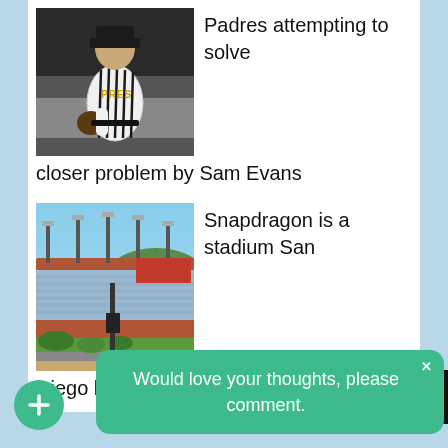[Figure (photo): Baseball pitcher in San Diego Padres uniform]
Padres attempting to solve closer problem by Sam Evans
[Figure (photo): Snapdragon Stadium exterior view]
Snapdragon is a stadium San Diego has never seen by Paul Garrison
San Di
Would love your thoughts, please comment.